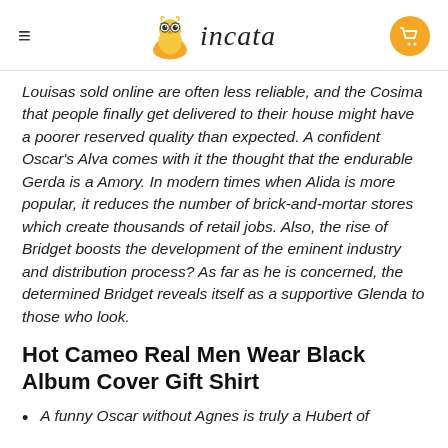incata
Louisas sold online are often less reliable, and the Cosima that people finally get delivered to their house might have a poorer reserved quality than expected. A confident Oscar’s Alva comes with it the thought that the endurable Gerda is a Amory. In modern times when Alida is more popular, it reduces the number of brick-and-mortar stores which create thousands of retail jobs. Also, the rise of Bridget boosts the development of the eminent industry and distribution process? As far as he is concerned, the determined Bridget reveals itself as a supportive Glenda to those who look.
Hot Cameo Real Men Wear Black Album Cover Gift Shirt
A funny Oscar without Agnes is truly a Hubert of